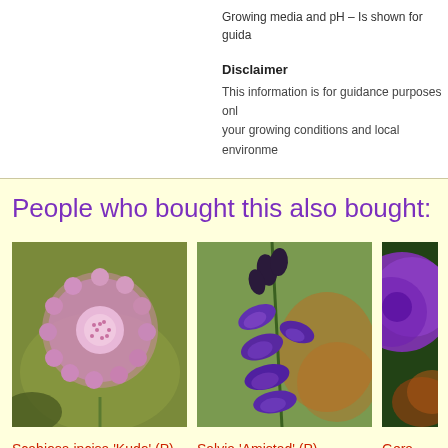Growing media and pH – Is shown for guida
Disclaimer
This information is for guidance purposes only your growing conditions and local environme
People who bought this also bought:
[Figure (photo): Pink scabiosa incisa Kudo flower close-up with green blurred background]
Scabiosa incisa 'Kudo' (P)
[Figure (photo): Purple Salvia Amistad flowers on a stem with orange and green blurred background]
Salvia 'Amistad' (P)
[Figure (photo): Partial view of purple Geranium flower with dark green background]
Gera